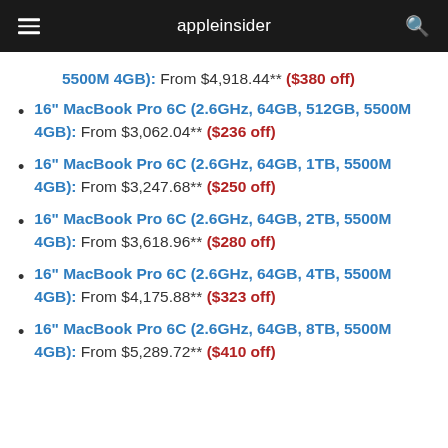appleinsider
5500M 4GB): From $4,918.44** ($380 off)
16" MacBook Pro 6C (2.6GHz, 64GB, 512GB, 5500M 4GB): From $3,062.04** ($236 off)
16" MacBook Pro 6C (2.6GHz, 64GB, 1TB, 5500M 4GB): From $3,247.68** ($250 off)
16" MacBook Pro 6C (2.6GHz, 64GB, 2TB, 5500M 4GB): From $3,618.96** ($280 off)
16" MacBook Pro 6C (2.6GHz, 64GB, 4TB, 5500M 4GB): From $4,175.88** ($323 off)
16" MacBook Pro 6C (2.6GHz, 64GB, 8TB, 5500M 4GB): From $5,289.72** ($410 off)